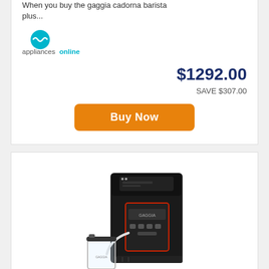When you buy the gaggia cadorna barista plus...
[Figure (logo): Appliances Online logo — teal circle wave icon with 'appliancesonline' text below]
$1292.00
SAVE $307.00
Buy Now
[Figure (photo): Gaggia Magenta Milk Automatic Coffee Machine RI8701-01 — black espresso machine with milk container and glass cup]
Gaggia Magenta Milk Automatic Coffee Machine RI8701-01
great deals including free delivery & removal